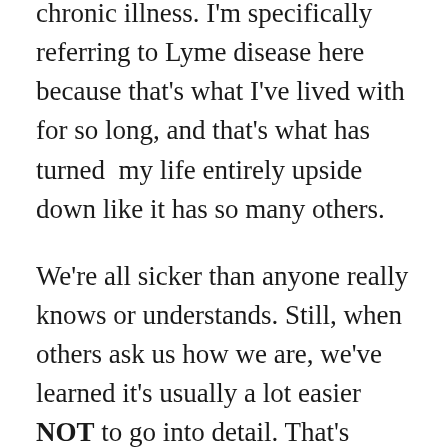chronic illness. I'm specifically referring to Lyme disease here because that's what I've lived with for so long, and that's what has turned my life entirely upside down like it has so many others.
We're all sicker than anyone really knows or understands. Still, when others ask us how we are, we've learned it's usually a lot easier NOT to go into detail. That's mainly because a lot of people just don't understand. We're not faulting them. As I